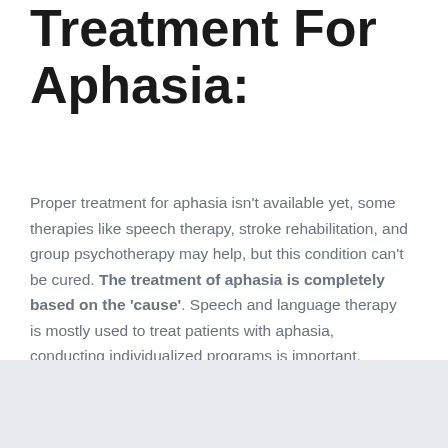Treatment For Aphasia:
Proper treatment for aphasia isn't available yet, some therapies like speech therapy, stroke rehabilitation, and group psychotherapy may help, but this condition can't be cured. The treatment of aphasia is completely based on the 'cause'. Speech and language therapy is mostly used to treat patients with aphasia, conducting individualized programs is important.
" Not being able to speak is not the same as not having anything to say " – Rosemary Crossley.